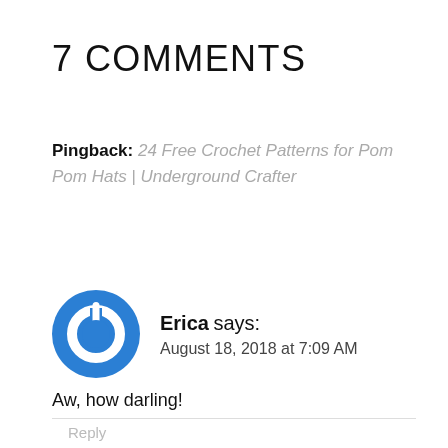7 COMMENTS
Pingback: 24 Free Crochet Patterns for Pom Pom Hats | Underground Crafter
Erica says:
August 18, 2018 at 7:09 AM
Aw, how darling!